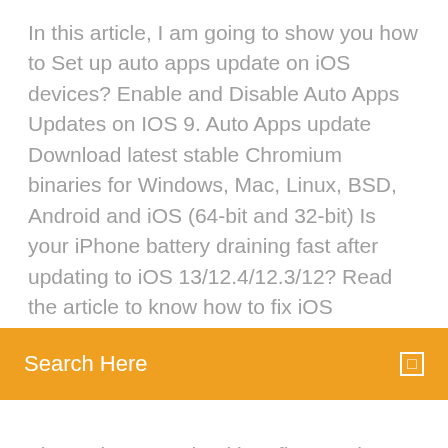In this article, I am going to show you how to Set up auto apps update on iOS devices? Enable and Disable Auto Apps Updates on IOS 9. Auto Apps update Download latest stable Chromium binaries for Windows, Mac, Linux, BSD, Android and iOS (64-bit and 32-bit) Is your iPhone battery draining fast after updating to iOS 13/12.4/12.3/12? Read the article to know how to fix iOS
Search Here
The update contained bug fixes and improvements, including a fix for a bug that prevented emails from being sent from Exchange servers. disable Software - Free Download disable - Top 4 Download - Top4Download.com offers free software downloads for Windows, Mac, iOS and Android computers and mobile devices. Visit for free, full and secured software's.
Fran bow free download full version for pc
Ed edd n eddy pc game free download
Free cleaner downloads pdf